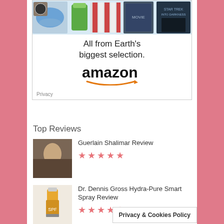[Figure (screenshot): Amazon advertisement banner showing products like shoes, a green drink, books, and movies, with text 'All from Earth's biggest selection.' and the Amazon logo with smile arrow. Privacy link at bottom left.]
Top Reviews
Guerlain Shalimar Review
[Figure (photo): Thumbnail photo for Guerlain Shalimar Review showing a woman]
★★★★★
Dr. Dennis Gross Hydra-Pure Smart Spray Review
[Figure (photo): Thumbnail photo for Dr. Dennis Gross Hydra-Pure Smart Spray showing product bottle]
★★★★★
Guerlain Maxi Shine
[Figure (photo): Thumbnail photo for Guerlain Maxi Shine showing a woman]
★★★★★
Privacy & Cookies Policy